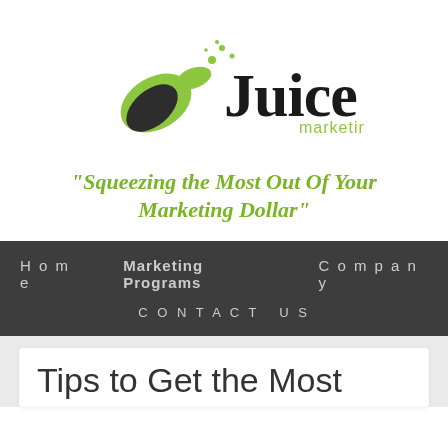[Figure (logo): Juice Marketing logo: green leaf/splash icon on left, bold black 'Juice' text with green 'marketing' below on right]
"Squeezing the Most Out Of Your Marketing Dollar"
Home   Marketing Programs   Company   CONTACT US
Tips to Get the Most